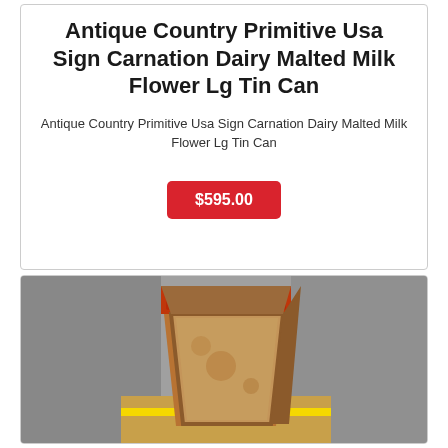Antique Country Primitive Usa Sign Carnation Dairy Malted Milk Flower Lg Tin Can
Antique Country Primitive Usa Sign Carnation Dairy Malted Milk Flower Lg Tin Can
$595.00
[Figure (photo): Photo of an antique Carnation Dairy Malted Milk large tin can, brown/tan colored with a label at the top, sitting on a wooden surface in a store setting with merchandise visible in the background.]